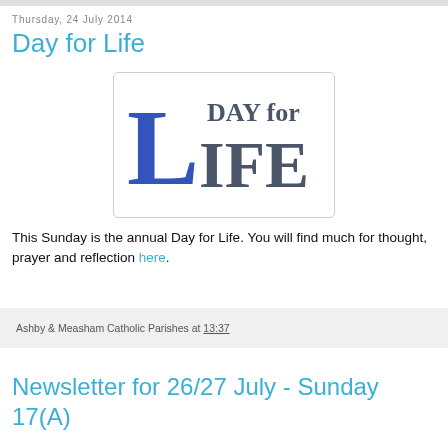Thursday, 24 July 2014
Day for Life
[Figure (logo): Day for Life logo: large blue letter L with 'DAY for LIFE' text in dark grey serif font]
This Sunday is the annual Day for Life. You will find much for thought, prayer and reflection here.
Ashby & Measham Catholic Parishes at 13:37
Newsletter for 26/27 July - Sunday 17(A)